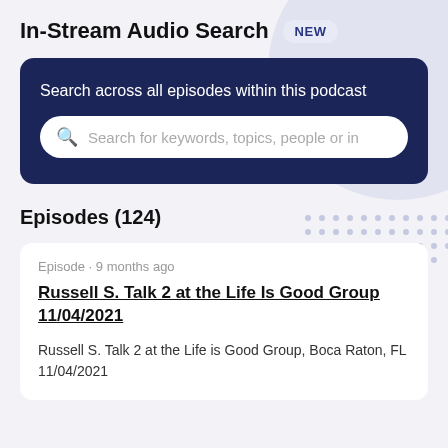In-Stream Audio Search NEW
Search across all episodes within this podcast
Search for keywords, topics, people or in
Episodes (124)
Episode · 9 months ago
Russell S. Talk 2 at the Life Is Good Group 11/04/2021
Russell S. Talk 2 at the Life is Good Group, Boca Raton, FL 11/04/2021